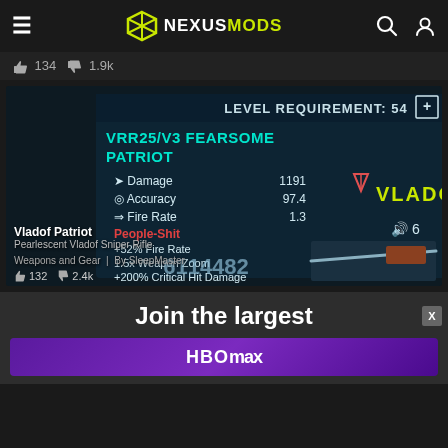[Figure (screenshot): NexusMods website header with hamburger menu, NexusMods logo (yellow/green), search and user icons]
[Figure (screenshot): Stats bar showing thumbs up 134 and download 1.9k]
[Figure (screenshot): Game screenshot from Borderlands showing weapon card: VRR25/V3 FEARSOME PATRIOT sniper rifle stats - Level Requirement 54, Damage 1191, Accuracy 97.4, Fire Rate 1.3, People-Shit prefix, +52% Fire Rate, 1.5x Weapon Zoom, +200% Critical Hit Damage, VLADOF brand logo, ID 6114482]
Vladof Patriot
Pearlescent Vladof Sniper Rifle
Weapons and Gear  |  By SleepMaster
132  2.4k
Join the largest
[Figure (screenshot): HBO Max advertisement banner with purple background]